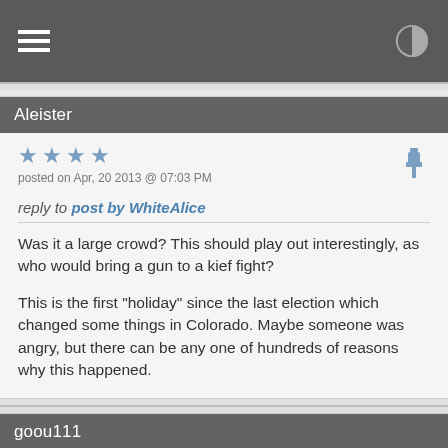Navigation bar with hamburger menu and contrast icon
Aleister
★ ★ ★ ★
posted on Apr, 20 2013 @ 07:03 PM
reply to post by WhiteAlice
Was it a large crowd? This should play out interestingly, as who would bring a gun to a kief fight?

This is the first "holiday" since the last election which changed some things in Colorado. Maybe someone was angry, but there can be any one of hundreds of reasons why this happened.
goou111
★ ★ ★
posted on Apr, 20 2013 @ 07:03 PM